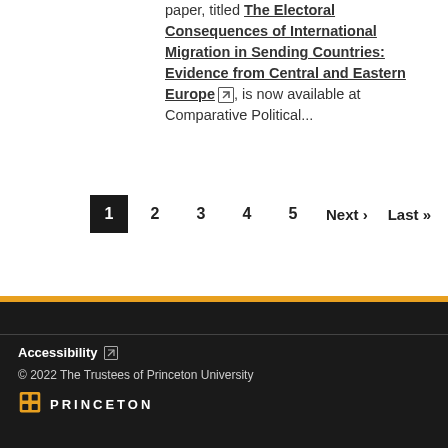paper, titled The Electoral Consequences of International Migration in Sending Countries: Evidence from Central and Eastern Europe, is now available at Comparative Political...
1 2 3 4 5 Next › Last »
Accessibility © 2022 The Trustees of Princeton University PRINCETON